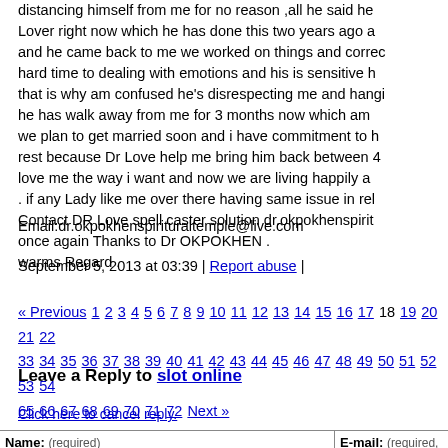distancing himself from me for no reason ,all he said he... Lover right now which he has done this two years ago a... and he came back to me we worked on things and correc... hard time to dealing with emotions and his is sensitive h... that is why am confused he's disrespecting me and hangi... he has walk away from me for 3 months now which am... we plan to get married soon and i have commitment to h... rest because Dr Love help me bring him back between 4... love me the way i want and now we are living happily a... . if any Lady like me over there having same issue in rel... Contact DR Love spell caster solution dr.okpokhenspirito... once again Thanks to Dr OKPOKHEN . warms Regard .
Email:dr.okpokhenspirituraltemple@live.com
September 5, 2013 at 03:39 | Report abuse |
« Previous 1 2 3 4 5 6 7 8 9 10 11 12 13 14 15 16 17 18 19 20 21 22 33 34 35 36 37 38 39 40 41 42 43 44 45 46 47 48 49 50 51 52 53 54 65 66 67 68 69 70 71 72 Next »
Leave a Reply to slot online
Click here to cancel reply.
| Name: (required) | E-mail: (required, but will not...) |
| --- | --- |
|  |